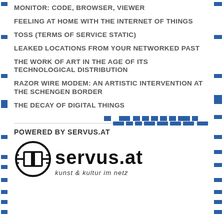MONITOR: CODE, BROWSER, VIEWER
FEELING AT HOME WITH THE INTERNET OF THINGS
TOSS (TERMS OF SERVICE STATIC)
LEAKED LOCATIONS FROM YOUR NETWORKED PAST
THE WORK OF ART IN THE AGE OF ITS TECHNOLOGICAL DISTRIBUTION
RAZOR WIRE MODEM: AN ARTISTIC INTERVENTION AT THE SCHENGEN BORDER
THE DECAY OF DIGITAL THINGS
POWERED BY SERVUS.AT
[Figure (logo): servus.at logo with circuit-board icon and text 'kunst & kultur im netz']